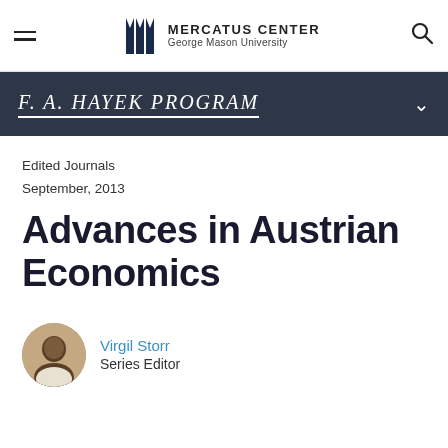Mercatus Center — George Mason University
F. A. Hayek Program
Edited Journals
September, 2013
Advances in Austrian Economics
Virgil Storr
Series Editor